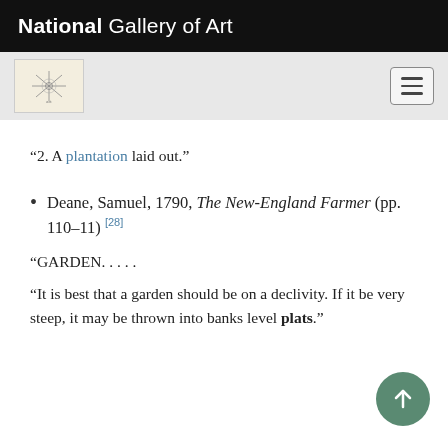National Gallery of Art
“2. A plantation laid out.”
Deane, Samuel, 1790, The New-England Farmer (pp. 110–11) [28]
“GARDEN. . . . .
“It is best that a garden should be on a declivity. If it be very steep, it may be thrown into banks level plats.”